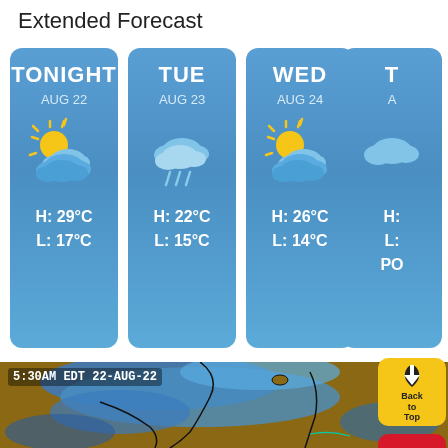Extended Forecast
[Figure (infographic): Extended forecast cards: TONIGHT AUG 22 partly cloudy H:29°C L:17°C; TUE AUG 23 rainy H:22°C L:15°C; WED AUG 24 partly cloudy H:26°C L:14°C; THU (partially visible) H:? L:? PO...]
[Figure (photo): Satellite weather map showing 5:30AM EDT 22-AUG-22, with blue cloud coverage over a brown landmass]
[Figure (infographic): Back to Top button (yellow rounded square with arrow icon) and HOME button (red rounded square with house icon)]